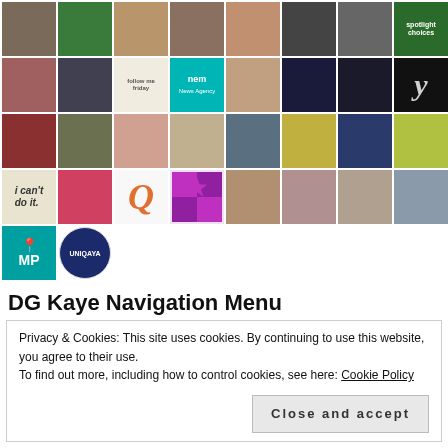[Figure (photo): Grid of social media avatar/profile images arranged in 5 rows and 8 columns, showing various people, logos, and icons including a dog, medical professional, various women and men, text-based logos (NEM News Agency, MP location pin, UNIQAYA), decorative patterns, and book covers.]
DG Kaye Navigation Menu
Privacy & Cookies: This site uses cookies. By continuing to use this website, you agree to their use.
To find out more, including how to control cookies, see here: Cookie Policy
Close and accept
Contact